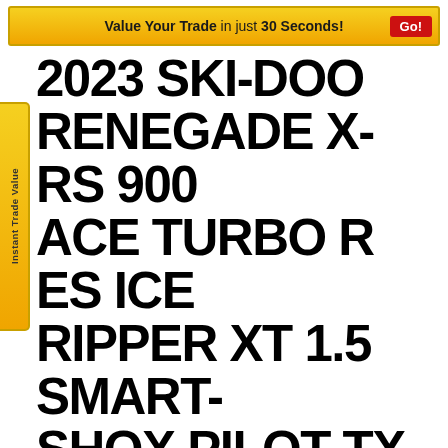Value Your Trade in just 30 Seconds! Go!
2023 SKI-DOO RENEGADE X-RS 900 ACE TURBO R ES ICE RIPPER XT 1.5 SMART-SHOX PILOT TX
New Snowmobiles • Renegade
CALL NOW
MSRP $19,799
[Figure (photo): Snowmobile handlebars and front section of a 2023 Ski-Doo Renegade X-RS, dark colored machine on light background]